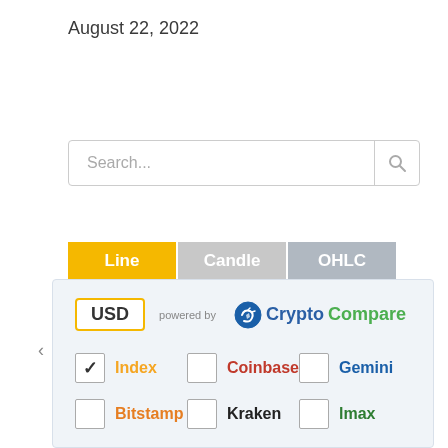August 22, 2022
[Figure (screenshot): Search input box with placeholder text 'Search...' and a magnifying glass icon on the right]
[Figure (screenshot): Tab bar with three chart type options: 'Line' (active/yellow), 'Candle' (grey), 'OHLC' (grey)]
[Figure (screenshot): Panel showing USD currency badge, 'powered by CryptoCompare' logo, and a grid of exchange checkboxes: Index (checked), Coinbase, Gemini, Bitstamp, Kraken, lmax]